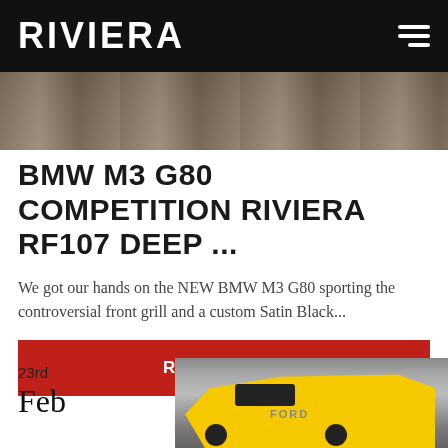RIVIERA
[Figure (photo): Partial top view of a car, muted brown/beige tones, cropped]
BMW M3 G80 COMPETITION RIVIERA RF107 DEEP ...
We got our hands on the NEW BMW M3 G80 sporting the controversial front grill and a custom Satin Black...
READ MORE
23rd
Feb
[Figure (photo): Yellow Ford Transit Custom van parked in front of a grey roller shutter door]